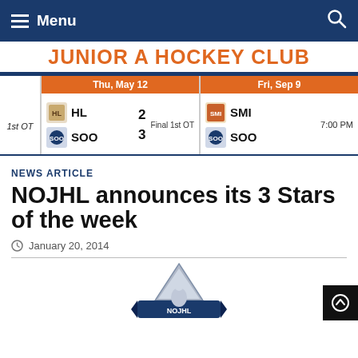Menu | Search
JUNIOR A HOCKEY CLUB
|  | Thu, May 12 | Fri, Sep 9 |
| --- | --- | --- |
| 1st OT | HL 2 / SOO 3 — Final 1st OT | SMI / SOO — 7:00 PM |
NEWS ARTICLE
NOJHL announces its 3 Stars of the week
January 20, 2014
[Figure (logo): NOJHL logo — triangle/star shape with hockey player graphic and banner]